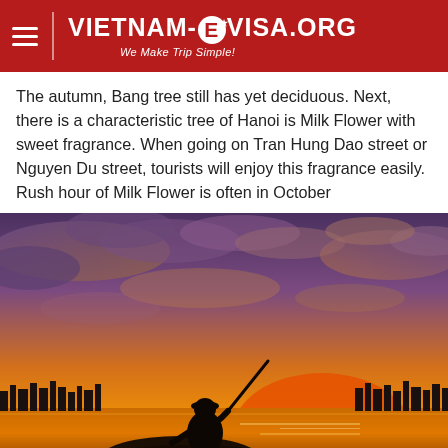VIETNAM-EVISA.ORG — We Make Trip Simple!
The autumn, Bang tree still has yet deciduous. Next, there is a characteristic tree of Hanoi is Milk Flower with sweet fragrance. When going on Tran Hung Dao street or Nguyen Du street, tourists will enjoy this fragrance easily. Rush hour of Milk Flower is often in October
[Figure (photo): Silhouette of a fisherman holding a fishing rod, kneeling on a rock in a lake at golden sunset, with a city skyline in the background and dramatic purple-orange clouds in the sky.]